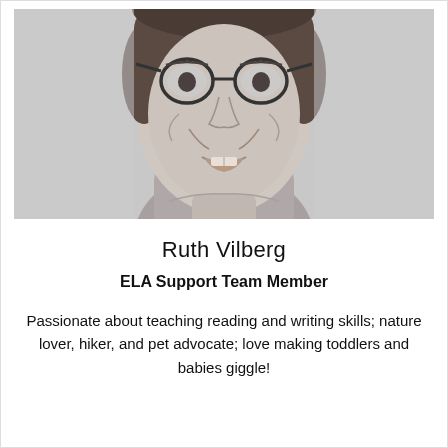[Figure (photo): Black and white close-up photo of a smiling woman with round glasses and short hair, wearing a sleeveless top.]
Ruth Vilberg
ELA Support Team Member
Passionate about teaching reading and writing skills; nature lover, hiker, and pet advocate; love making toddlers and babies giggle!